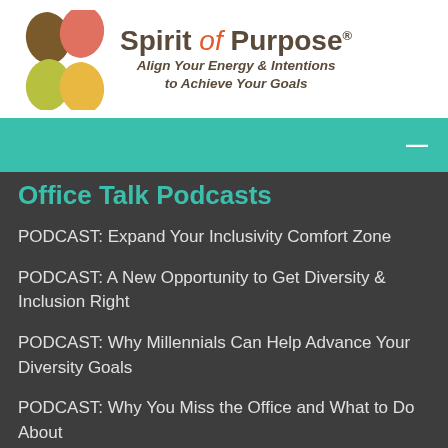[Figure (logo): Spirit of Purpose logo with colorful S-shaped icon and text 'Spirit of Purpose - Align Your Energy & Intentions to Achieve Your Goals']
[Figure (other): Teal navigation bar with hamburger/minus menu icon on the right]
Office Talk Podcasts
PODCAST: Expand Your Inclusivity Comfort Zone
PODCAST: A New Opportunity to Get Diversity & Inclusion Right
PODCAST: Why Millennials Can Help Advance Your Diversity Goals
PODCAST: Why You Miss the Office and What to Do About